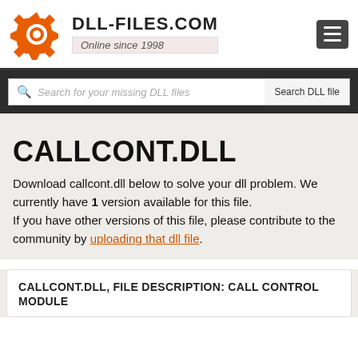DLL-FILES.COM — Online since 1998
CALLCONT.DLL
Download callcont.dll below to solve your dll problem. We currently have 1 version available for this file. If you have other versions of this file, please contribute to the community by uploading that dll file.
CALLCONT.DLL, FILE DESCRIPTION: CALL CONTROL MODULE